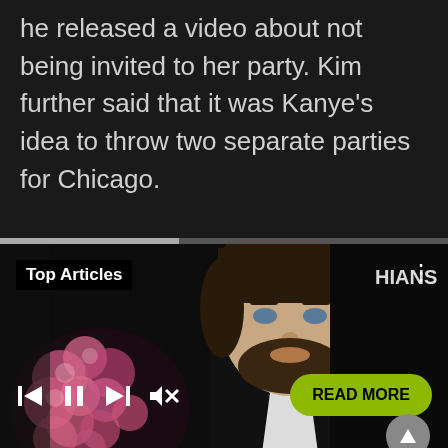he released a video about not being invited to her party. Kim further said that it was Kanye's idea to throw two separate parties for Chicago.
[Figure (screenshot): A media player overlay showing a photo of a man with a beard and dark hair wearing a black suit and white shirt, standing in front of pink roses. Text 'HIANS' visible in background. Player controls visible at bottom: previous, pause, next, mute. 'Top Articles' label in top-left. 'READ MORE' green button at bottom right. A progress bar at the top of the player.]